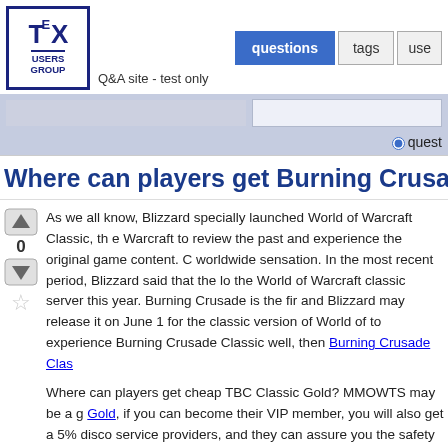[Figure (logo): TeX Users Group logo — bold blue border box with TEX in large font and USERS GROUP below, separated by a horizontal rule]
Q&A site - test only
questions | tags | use
Where can players get Burning Crusade
As we all know, Blizzard specially launched World of Warcraft Classic, the... Warcraft to review the past and experience the original game content. C... worldwide sensation. In the most recent period, Blizzard said that the lo... the World of Warcraft classic server this year. Burning Crusade is the fir... and Blizzard may release it on June 1 for the classic version of World of... to experience Burning Crusade Classic well, then Burning Crusade Clas...
Where can players get cheap TBC Classic Gold? MMOWTS may be a g... Gold, if you can become their VIP member, you will also get a 5% disco... service providers, and they can assure you the safety of their products.... their orders can be completed within 15 minutes, so you do not have to...